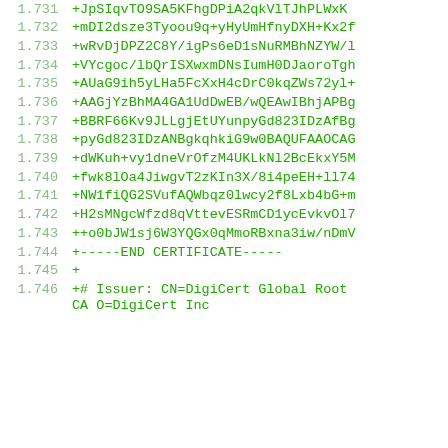1.731  +JpSIqvTO9SA5KFhgDPiA2qkVlTJhPLWxK...
1.732  +mDI2dsze3Tyoou9q+yHyUmHfnyDXH+Kx2...
1.733  +wRvDjDPZ2C8Y/igPs6eD1sNuRMBhNZYW/...
1.734  +VYcgoc/lbQrISXwxmDNsIumH0DJaoroTgh...
1.735  +AUaG9ih5yLHa5FcXxH4cDrC0kqZWs72yl+...
1.736  +AAGjYzBhMA4GA1UdDwEB/wQEAwIBhjAPBg...
1.737  +BBRF66Kv9JLLgjEtUYunpyGd823IDzAfBg...
1.738  +pyGd823IDzANBgkqhkiG9w0BAQUFAAOCAG...
1.739  +dWKuh+vy1dneVrOfzM4UKLkNl2BcEkxY5M...
1.740  +fwk8lOa4JiwgvT2zKIn3X/8i4peEH+ll74...
1.741  +NW1fiQG2SVufAQWbqz0lwcy2f8Lxb4bG+m...
1.742  +H2sMNgcWfzd8qVttevESRmCD1ycEvkvOl7...
1.743  ++o0bJW1sj6W3YQGx0qMmoRBxna3iw/nDmV...
1.744  +-----END CERTIFICATE-----
1.745  +
1.746  +# Issuer: CN=DigiCert Global Root CA O=DigiCert Inc